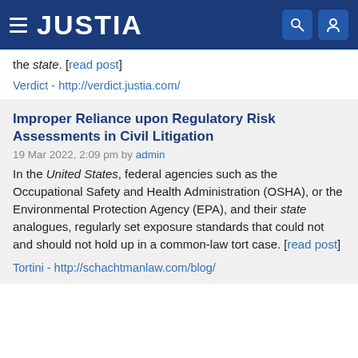JUSTIA
the state. [read post]
Verdict - http://verdict.justia.com/
Improper Reliance upon Regulatory Risk Assessments in Civil Litigation
19 Mar 2022, 2:09 pm by admin
In the United States, federal agencies such as the Occupational Safety and Health Administration (OSHA), or the Environmental Protection Agency (EPA), and their state analogues, regularly set exposure standards that could not and should not hold up in a common-law tort case. [read post]
Tortini - http://schachtmanlaw.com/blog/